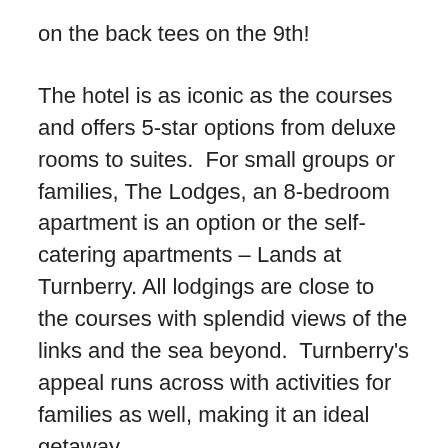on the back tees on the 9th!
The hotel is as iconic as the courses and offers 5-star options from deluxe rooms to suites.  For small groups or families, The Lodges, an 8-bedroom apartment is an option or the self-catering apartments – Lands at Turnberry. All lodgings are close to the courses with splendid views of the links and the sea beyond.  Turnberry's appeal runs across with activities for families as well, making it an ideal getaway.
FOR THE COMPLETE "GREAT Golf RESORTS" BROCHURE, CLICK HERE.